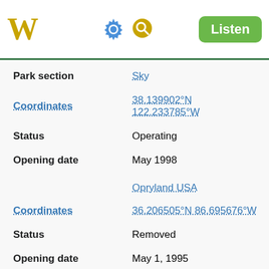W [logo] [gear] [search] Listen
| Field | Value |
| --- | --- |
| Park section | Sky |
| Coordinates | 38.139902°N 122.233785°W |
| Status | Operating |
| Opening date | May 1998 |
|  | Opryland USA |
| Coordinates | 36.206505°N 86.695676°W |
| Status | Removed |
| Opening date | May 1, 1995 |
| Closing date | 1997 |